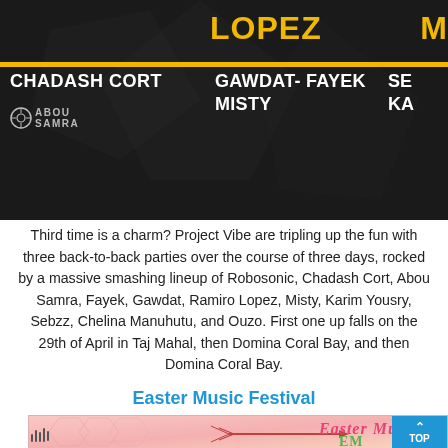[Figure (photo): Dark background event banner showing artist names: CHADASH CORT, GAWDAT-FAYEK, MISTY, ABOU SAMRA logo, LOPEZ text in yellow, partial text on right. Yellow horizontal bars separate sections. Dark polygon geometric overlay effect.]
Third time is a charm? Project Vibe are tripling up the fun with three back-to-back parties over the course of three days, rocked by a massive smashing lineup of Robosonic, Chadash Cort, Abou Samra, Fayek, Gawdat, Ramiro Lopez, Misty, Karim Yousry, Sebzz, Chelina Manuhutu, and Ouzo. First one up falls on the 29th of April in Taj Mahal, then Domina Coral Bay, and then Domina Coral Bay.
Easter Music Festival
[Figure (photo): Easter Music Festival event banner with pink/salmon background, decorative feathers and arrows, partial text reading 'Easter Mus...' in styled pink font and 'EM...' in green. Blue 'TOP' button in bottom right corner. Musical sound wave icon at bottom left.]